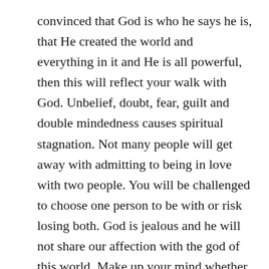convinced that God is who he says he is, that He created the world and everything in it and He is all powerful, then this will reflect your walk with God. Unbelief, doubt, fear, guilt and double mindedness causes spiritual stagnation. Not many people will get away with admitting to being in love with two people. You will be challenged to choose one person to be with or risk losing both. God is jealous and he will not share our affection with the god of this world. Make up your mind whether or not you want to serve God and go after him with your whole heart.
“No one can serve two masters, for either he will hate the one and love the other, or he will be devoted to the one and despise the other. You cannot serve God and…” (Matthew 6:24)